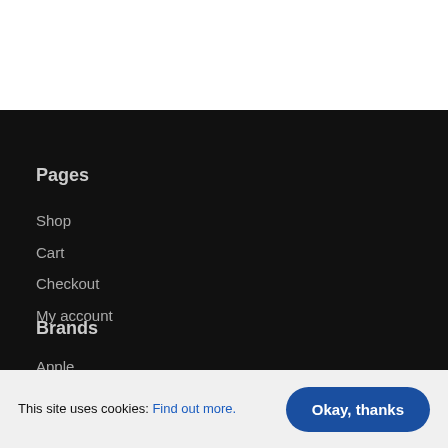Pages
Shop
Cart
Checkout
My account
Brands
Apple
This site uses cookies: Find out more.
Okay, thanks